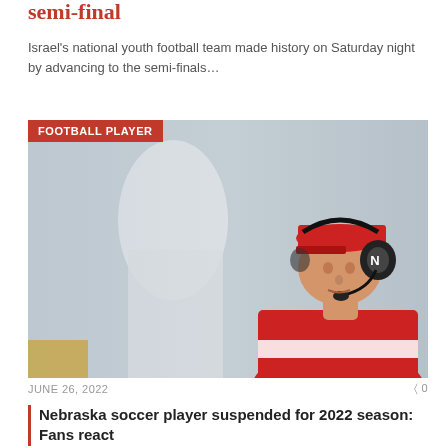semi-final
Israel's national youth football team made history on Saturday night by advancing to the semi-finals…
[Figure (photo): A football coach or player wearing a red Nebraska uniform and red cap with a black headset with microphone, leaning forward intently on the sideline. Background is blurred showing another person in white.]
FOOTBALL PLAYER
JUNE 26, 2022    0
Nebraska soccer player suspended for 2022 season: Fans react